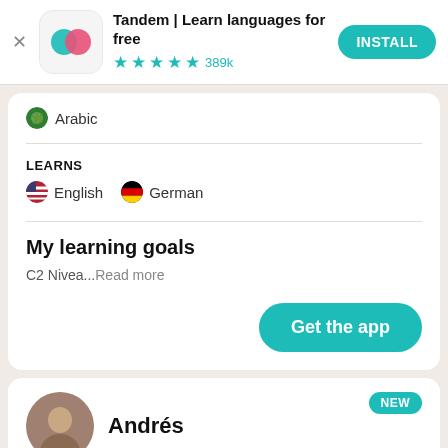[Figure (screenshot): Tandem app banner with icon, title, star rating, and INSTALL button]
Arabic
LEARNS
English  German
My learning goals
C2 Nivea...Read more
Get the app
Andrés
NEW